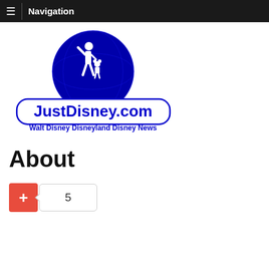≡ Navigation
[Figure (logo): JustDisney.com logo with Walt Disney and Mickey Mouse silhouette on blue circle, text 'JustDisney.com Walt Disney Disneyland Disney News']
About
+ 5